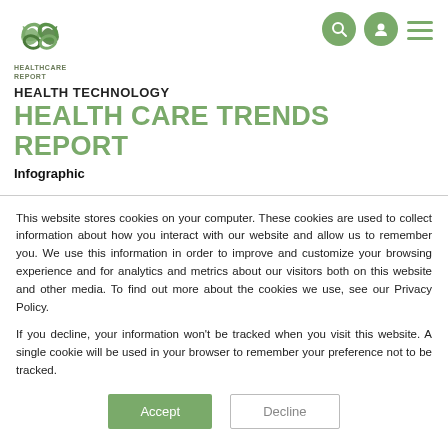[Figure (logo): Healthcare Report logo with green infinity/cross symbol and text 'HEALTHCARE REPORT' beneath]
HEALTH TECHNOLOGY
HEALTH CARE TRENDS REPORT
Infographic
This website stores cookies on your computer. These cookies are used to collect information about how you interact with our website and allow us to remember you. We use this information in order to improve and customize your browsing experience and for analytics and metrics about our visitors both on this website and other media. To find out more about the cookies we use, see our Privacy Policy.
If you decline, your information won't be tracked when you visit this website. A single cookie will be used in your browser to remember your preference not to be tracked.